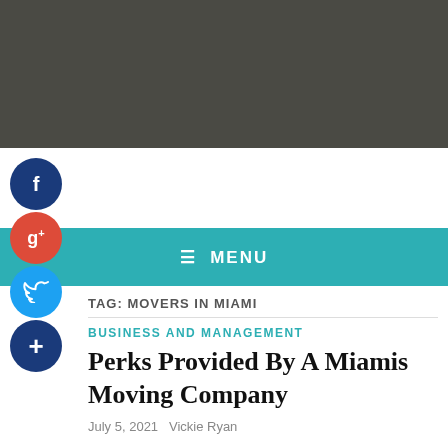MENU
TAG: MOVERS IN MIAMI
BUSINESS AND MANAGEMENT
Perks Provided By A Miamis Moving Company
July 5, 2021   Vickie Ryan